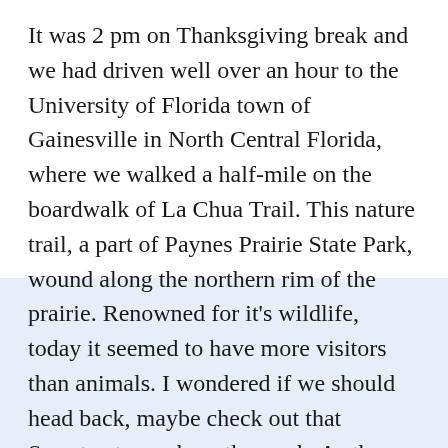It was 2 pm on Thanksgiving break and we had driven well over an hour to the University of Florida town of Gainesville in North Central Florida, where we walked a half-mile on the boardwalk of La Chua Trail. This nature trail, a part of Paynes Prairie State Park, wound along the northern rim of the prairie. Renowned for it's wildlife,  today it seemed to have more visitors than animals. I wondered if we should head back, maybe check out that Sweetwater park up the road.  As the boardwalk ended, we counted 7 gators sunning themselves in the mud. The sign at the end of the boardwalk pointed to a grassy trail beyond- one mile to the observation tower over the prairie. My daughter tallied up the mileage in her head, arming herself for a protest against a three mile hike.